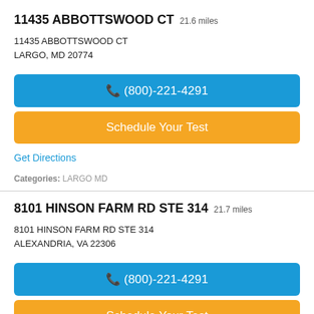11435 ABBOTTSWOOD CT 21.6 miles
11435 ABBOTTSWOOD CT
LARGO, MD 20774
(800)-221-4291
Schedule Your Test
Get Directions
Categories: LARGO MD
8101 HINSON FARM RD STE 314 21.7 miles
8101 HINSON FARM RD STE 314
ALEXANDRIA, VA 22306
(800)-221-4291
Schedule Your Test
Get Directions